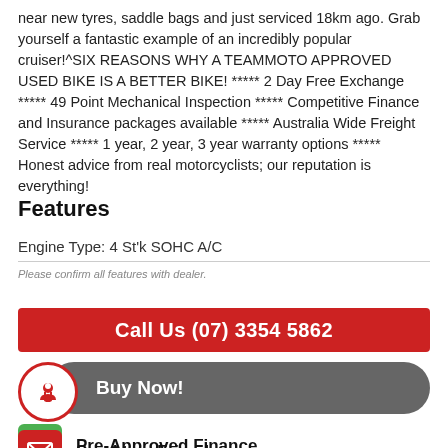near new tyres, saddle bags and just serviced 18km ago. Grab yourself a fantastic example of an incredibly popular cruiser!^SIX REASONS WHY A TEAMMOTO APPROVED USED BIKE IS A BETTER BIKE! ***** 2 Day Free Exchange ***** 49 Point Mechanical Inspection ***** Competitive Finance and Insurance packages available ***** Australia Wide Freight Service ***** 1 year, 2 year, 3 year warranty options ***** Honest advice from real motorcyclists; our reputation is everything!
Features
Engine Type: 4 St'k SOHC A/C
Please confirm all features with dealer.
Call Us (07) 3354 5862
Buy Now!
Pre-Approved Finance
Send to a Friend